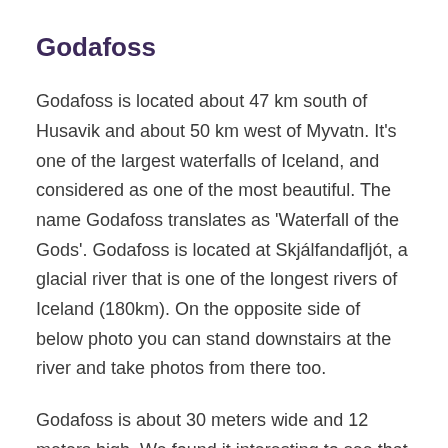Godafoss
Godafoss is located about 47 km south of Husavik and about 50 km west of Myvatn. It's one of the largest waterfalls of Iceland, and considered as one of the most beautiful. The name Godafoss translates as 'Waterfall of the Gods'. Godafoss is located at Skjálfandafljót, a glacial river that is one of the longest rivers of Iceland (180km). On the opposite side of below photo you can stand downstairs at the river and take photos from there too.
Godafoss is about 30 meters wide and 12 meters high. We found it interesting to see that the two main water streams on top of the Godafoss waterfall have different heights. There are two parking lots at